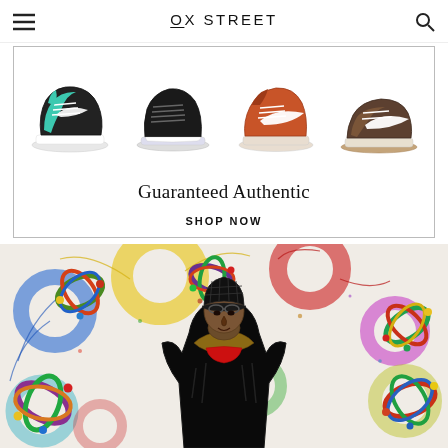OX STREET
[Figure (photo): Advertisement banner showing four Nike sneakers in a row: teal/black Air Jordan 1, black Nike court shoe, orange Nike Dunk Mid, brown Nike Dunk Low. Text reads 'Guaranteed Authentic' with 'SHOP NOW' link below.]
Guaranteed Authentic
SHOP NOW
[Figure (photo): Photo of a man wearing a black quilted winter coat with fur collar, black patterned head covering, and red scarf, standing in front of a colorful abstract painted backdrop with orbiting ring sculptures floating around him.]